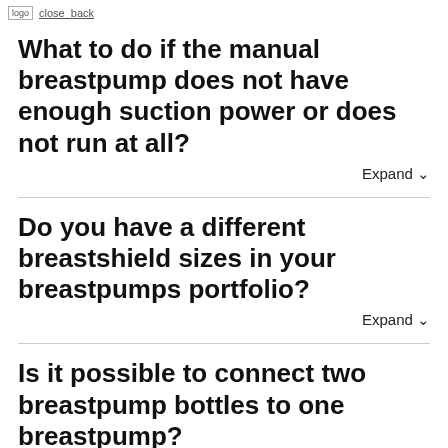[logo] [navbar: close | back]
What to do if the manual breastpump does not have enough suction power or does not run at all?
Expand
Do you have a different breastshield sizes in your breastpumps portfolio?
Expand
Is it possible to connect two breastpump bottles to one breastpump?
Expand